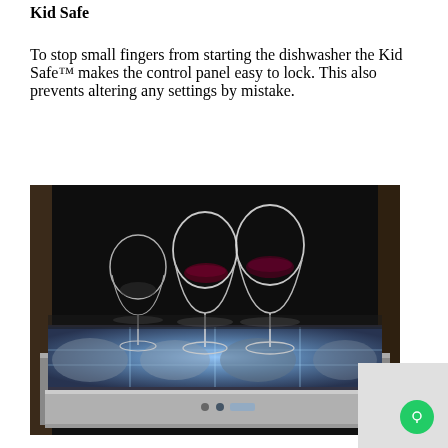Kid Safe
To stop small fingers from starting the dishwasher the Kid Safe™ makes the control panel easy to lock. This also prevents altering any settings by mistake.
[Figure (photo): Black and white photograph showing wine glasses on top of an open dishwasher drawer, with the illuminated interior visible below.]